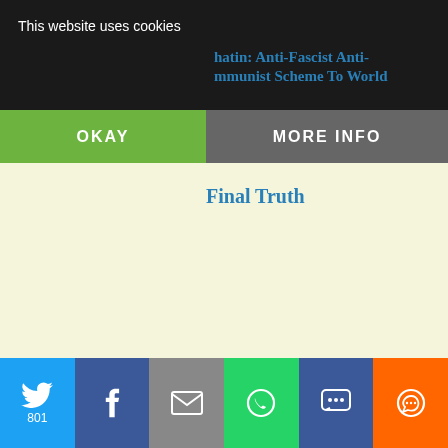This website uses cookies
OKAY
MORE INFO
hatin: Anti-Fascist Anti-mmunist Scheme to World Final Truth
Croati Totali
Filed Under: Uncategorized   Tagged W Bleiburg, Bleiburg massacres, communist crime Veterans Associations, Jasenovac, lustration, re transitioning from communism to democracy, Milanovic
« Appeal: Stop the new attempt to occupy OPERATION FLASH 1st May 1995 Start o From Serb Occupation And Brutal Aggr
[Figure (other): Social sharing bar with Twitter (801), Facebook, Email, WhatsApp, SMS, and More buttons]